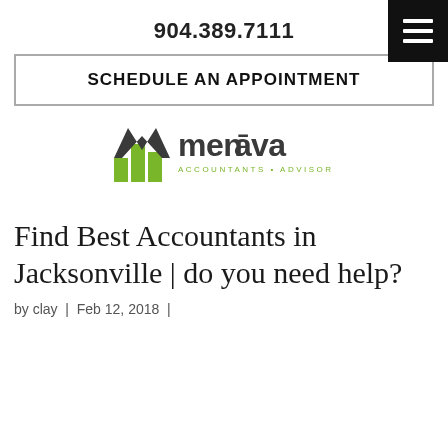904.389.7111
SCHEDULE AN APPOINTMENT
[Figure (logo): Menava Accountants Advisors logo with green and dark gray M chart icon]
Find Best Accountants in Jacksonville | do you need help?
by clay | Feb 12, 2018 |